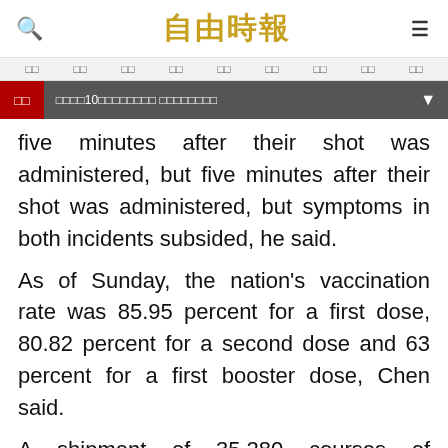自由時報
□□ □□ □□ □□ □□ □□ □□ □□ □□
□□ □□□□10□□□□□□□□ □□□□□□□□
five minutes after their shot was administered, but symptoms in both incidents subsided, he said.
As of Sunday, the nation's vaccination rate was 85.95 percent for a first dose, 80.82 percent for a second dose and 63 percent for a first booster dose, Chen said.
A shipment of 35,280 courses of molnupiravir, an oral antiviral treatment for treating COVID-19 also arrived yesterday evening.